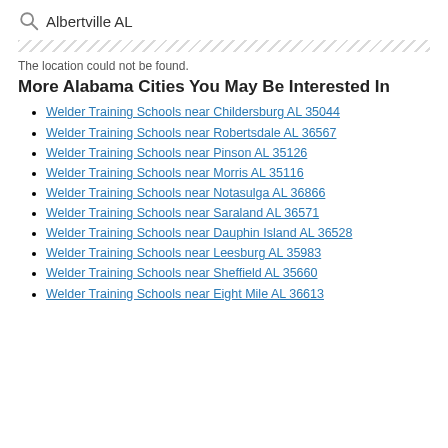Albertville AL
The location could not be found.
More Alabama Cities You May Be Interested In
Welder Training Schools near Childersburg AL 35044
Welder Training Schools near Robertsdale AL 36567
Welder Training Schools near Pinson AL 35126
Welder Training Schools near Morris AL 35116
Welder Training Schools near Notasulga AL 36866
Welder Training Schools near Saraland AL 36571
Welder Training Schools near Dauphin Island AL 36528
Welder Training Schools near Leesburg AL 35983
Welder Training Schools near Sheffield AL 35660
Welder Training Schools near Eight Mile AL 36613